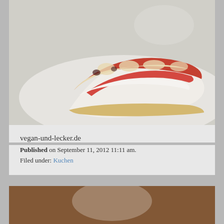[Figure (photo): Close-up photo of a slice of vegan cake/pastry with strawberry filling on a blue/white plate, on light background]
vegan-und-lecker.de
Published on September 11, 2012 11:11 am.
Filed under: Kuchen
[Figure (photo): Photo of a serving of layered baked vegetable dish (e.g. moussaka or lasagna) with tomato sauce on a white plate, on a wooden table]